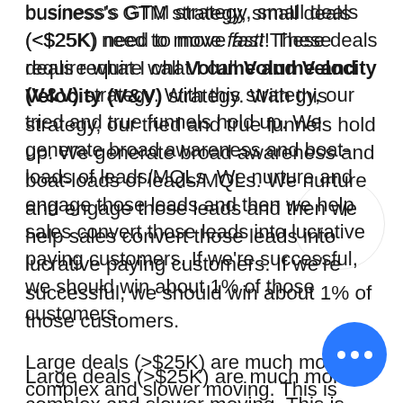business's GTM strategy, small deals (<$25K) need to move fast! These deals require what I call Volume and Velocity (V&V) strategy. With this strategy, our tried and true funnels hold up. We generate broad awareness and boat-loads of leads/MQLs. We nurture and engage those leads and then we help sales convert those leads into lucrative paying customers. If we're successful, we should win about 1% of those customers.
Large deals (>$25K) are much more complex and slower moving. This is where Account-Based Marketing (ABM) really shines. Yes, you can potentially use ABM to target large volumes of customers, but in my experience, most marketers struggle